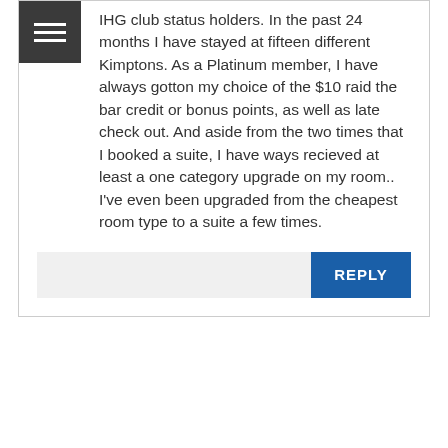IHG club status holders. In the past 24 months I have stayed at fifteen different Kimptons. As a Platinum member, I have always gotton my choice of the $10 raid the bar credit or bonus points, as well as late check out. And aside from the two times that I booked a suite, I have ways recieved at least a one category upgrade on my room.. I've even been upgraded from the cheapest room type to a suite a few times.